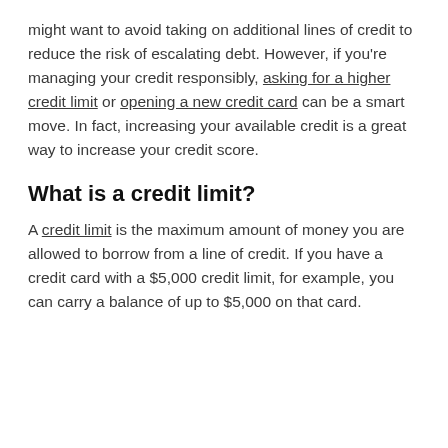might want to avoid taking on additional lines of credit to reduce the risk of escalating debt. However, if you're managing your credit responsibly, asking for a higher credit limit or opening a new credit card can be a smart move. In fact, increasing your available credit is a great way to increase your credit score.
What is a credit limit?
A credit limit is the maximum amount of money you are allowed to borrow from a line of credit. If you have a credit card with a $5,000 credit limit, for example, you can carry a balance of up to $5,000 on that card.